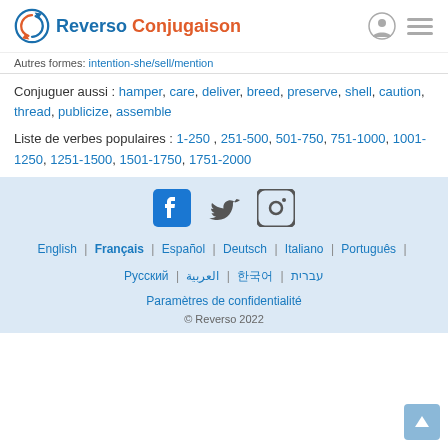Reverso Conjugaison
Autres formes: intention-she/sell/mention
Conjuguer aussi : hamper, care, deliver, breed, preserve, shell, caution, thread, publicize, assemble
Liste de verbes populaires : 1-250 , 251-500 , 501-750 , 751-1000 , 1001-1250 , 1251-1500 , 1501-1750 , 1751-2000
[Figure (other): Social media icons: Facebook, Twitter, Instagram]
English | Français | Español | Deutsch | Italiano | Português | Русский | العربية | 한국어 | עברית
Paramètres de confidentialité
© Reverso 2022